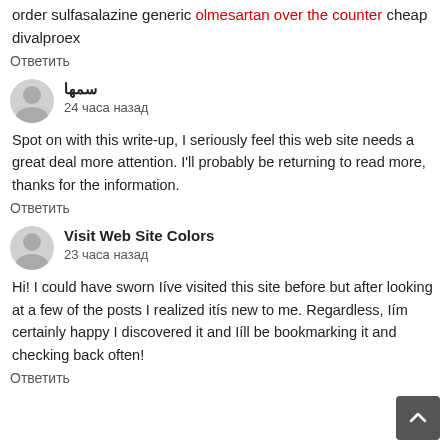order sulfasalazine generic olmesartan over the counter cheap divalproex
Ответить
سمها
24 часа назад
Spot on with this write-up, I seriously feel this web site needs a great deal more attention. I'll probably be returning to read more, thanks for the information.
Ответить
Visit Web Site Colors
23 часа назад
Hi! I could have sworn Iíve visited this site before but after looking at a few of the posts I realized itís new to me. Regardless, Iím certainly happy I discovered it and Iíll be bookmarking it and checking back often!
Ответить